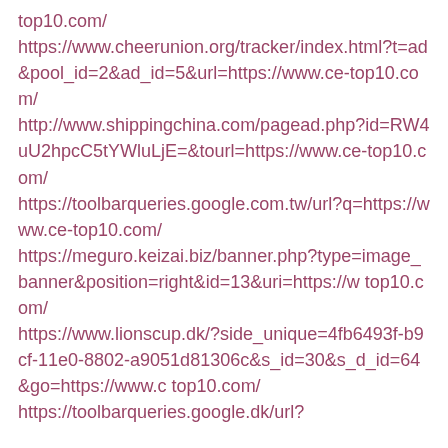top10.com/
https://www.cheerunion.org/tracker/index.html?t=ad&pool_id=2&ad_id=5&url=https://www.ce-top10.com/
http://www.shippingchina.com/pagead.php?id=RW4uU2hpcC5tYWluLjE=&tourl=https://www.ce-top10.com/
https://toolbarqueries.google.com.tw/url?q=https://www.ce-top10.com/
https://meguro.keizai.biz/banner.php?type=image_banner&position=right&id=13&uri=https://w top10.com/
https://www.lionscup.dk/?side_unique=4fb6493f-b9cf-11e0-8802-a9051d81306c&s_id=30&s_d_id=64&go=https://www.c top10.com/
https://toolbarqueries.google.dk/url?